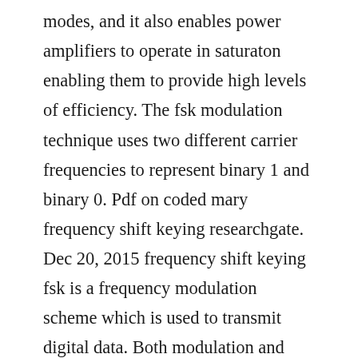modes, and it also enables power amplifiers to operate in saturaton enabling them to provide high levels of efficiency. The fsk modulation technique uses two different carrier frequencies to represent binary 1 and binary 0. Pdf on coded mary frequency shift keying researchgate. Dec 20, 2015 frequency shift keying fsk is a frequency modulation scheme which is used to transmit digital data. Both modulation and demodulation schemes will be dis cussed binary fsk. Singletone frequency shift keying fsk modulation with permutation codes has been found to be useful in